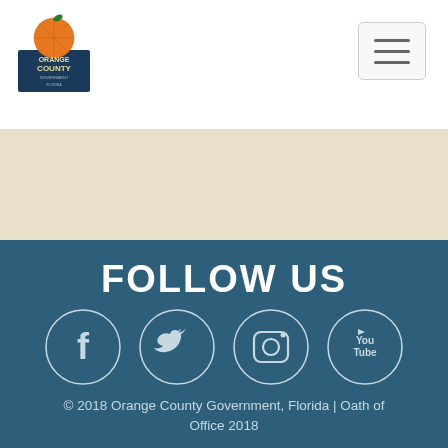[Figure (logo): Orange County Government Florida logo with orange fruit graphic]
[Figure (illustration): Hamburger/menu button icon with three horizontal lines]
[Figure (illustration): Tan/beige textured background band]
FOLLOW US
[Figure (illustration): Four social media icons in circles: Facebook, Twitter, Instagram, YouTube on dark teal background]
© 2018 Orange County Government, Florida | Oath of Office 2018